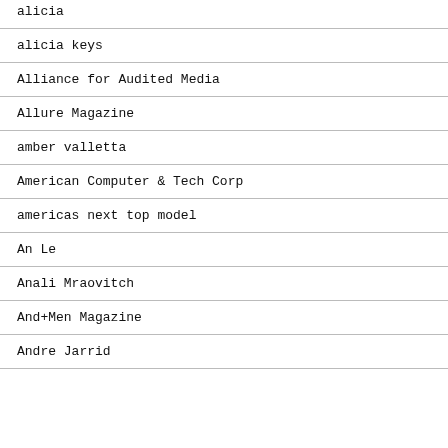alicia
alicia keys
Alliance for Audited Media
Allure Magazine
amber valletta
American Computer & Tech Corp
americas next top model
An Le
Anali Mraovitch
And+Men Magazine
Andre Jarrid